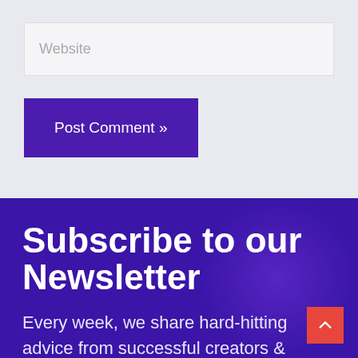Website
Post Comment »
Subscribe to our Newsletter
Every week, we share hard-hitting advice from successful creators & industry experts. Join 140,000+ creative professionals already